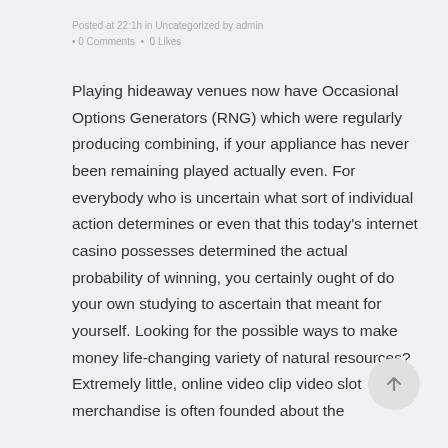Posted at 22:1h in Uncategorized by admin • 0 Comments • 0 Likes
Playing hideaway venues now have Occasional Options Generators (RNG) which were regularly producing combining, if your appliance has never been remaining played actually even. For everybody who is uncertain what sort of individual action determines or even that this today's internet casino possesses determined the actual probability of winning, you certainly ought of do your own studying to ascertain that meant for yourself. Looking for the possible ways to make money life-changing variety of natural resources? Extremely little, online video clip video slot merchandise is often founded about the